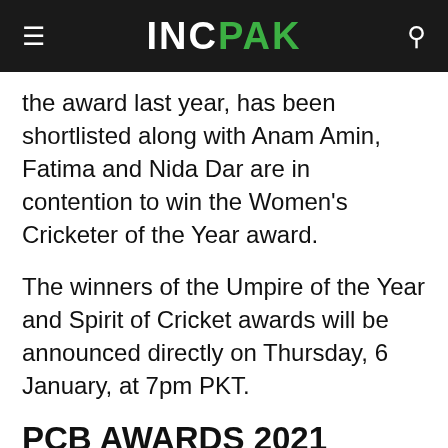INC PAK
the award last year, has been shortlisted along with Anam Amin, Fatima and Nida Dar are in contention to win the Women's Cricketer of the Year award.
The winners of the Umpire of the Year and Spirit of Cricket awards will be announced directly on Thursday, 6 January, at 7pm PKT.
PCB AWARDS 2021 NOMINATIONS:
These are the shortlists for all categories in the PCB Awards 2021 nominations: